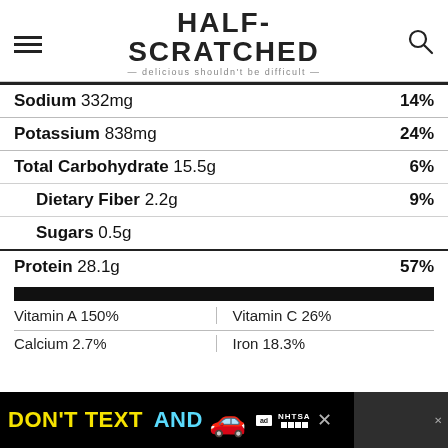HALF-SCRATCHED — delicious shouldn't be difficult
| Nutrient | Amount | % Daily Value |
| --- | --- | --- |
| Sodium | 332mg | 14% |
| Potassium | 838mg | 24% |
| Total Carbohydrate | 15.5g | 6% |
| Dietary Fiber | 2.2g | 9% |
| Sugars | 0.5g |  |
| Protein | 28.1g | 57% |
Vitamin A 150%   Vitamin C 26%
Calcium 2.7%   Iron 18.3%
[Figure (infographic): DON'T TEXT AND [car emoji] advertisement banner with ad badge and NHTSA logo]